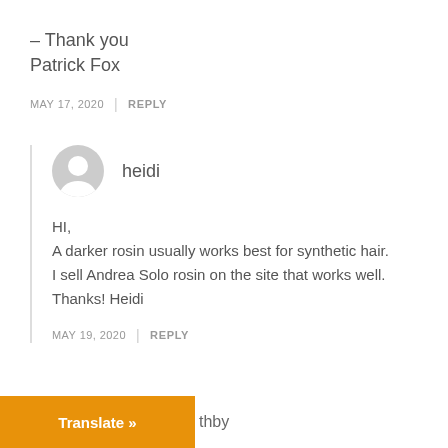– Thank you
Patrick Fox
MAY 17, 2020  |  REPLY
heidi
HI,
A darker rosin usually works best for synthetic hair.
I sell Andrea Solo rosin on the site that works well.
Thanks! Heidi
MAY 19, 2020  |  REPLY
Translate »  thby